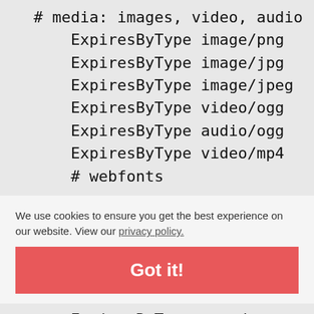# media: images, video, audio
    ExpiresByType image/png
    ExpiresByType image/jpg
    ExpiresByType image/jpeg
    ExpiresByType video/ogg
    ExpiresByType audio/ogg
    ExpiresByType video/mp4
    # webfonts
We use cookies to ensure you get the best experience on our website. View our privacy policy.
Got it!
ExpiresByType text/css
    ExpiresByType application/javascript
    ExpiresByType text/javascript
</IfModule>